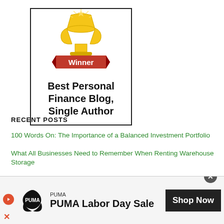[Figure (illustration): Award badge with trophy and red ribbon banner reading 'Winner', below which text reads 'Best Personal Finance Blog, Single Author' inside a black-bordered box.]
RECENT POSTS
100 Words On: The Importance of a Balanced Investment Portfolio
What All Businesses Need to Remember When Renting Warehouse Storage
Multi-Currency Bank Accounts: Do You Need One?
5 Surprising Things Your Auto Insurance Policy Doesn't Cover
[Figure (other): Advertisement banner for PUMA Labor Day Sale with PUMA logo, 'Shop Now' button, and close/play controls.]